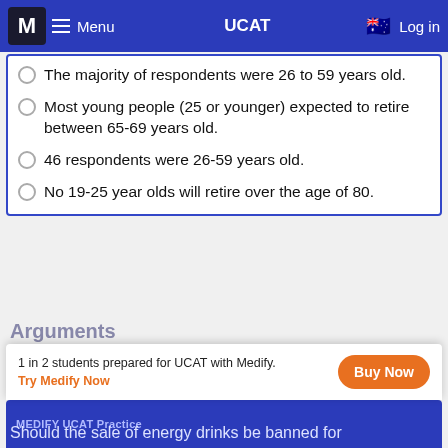M Menu UCAT Log in
The majority of respondents were 26 to 59 years old.
Most young people (25 or younger) expected to retire between 65-69 years old.
46 respondents were 26-59 years old.
No 19-25 year olds will retire over the age of 80.
Arguments
A question is posed and you'll also be given 4 arguments. You choose the strongest of the four.
MEDIFY UCAT Practice
1 in 2 students prepared for UCAT with Medify. Try Medify Now
Should the sale of energy drinks be banned for